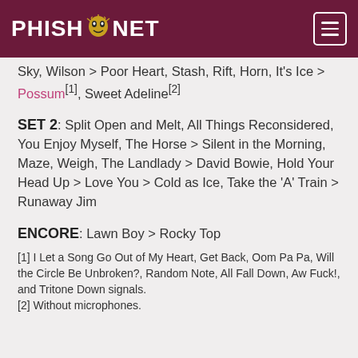PHISH.NET
Sky, Wilson > Poor Heart, Stash, Rift, Horn, It's Ice > Possum[1], Sweet Adeline[2]
SET 2: Split Open and Melt, All Things Reconsidered, You Enjoy Myself, The Horse > Silent in the Morning, Maze, Weigh, The Landlady > David Bowie, Hold Your Head Up > Love You > Cold as Ice, Take the 'A' Train > Runaway Jim
ENCORE: Lawn Boy > Rocky Top
[1] I Let a Song Go Out of My Heart, Get Back, Oom Pa Pa, Will the Circle Be Unbroken?, Random Note, All Fall Down, Aw Fuck!, and Tritone Down signals.
[2] Without microphones.